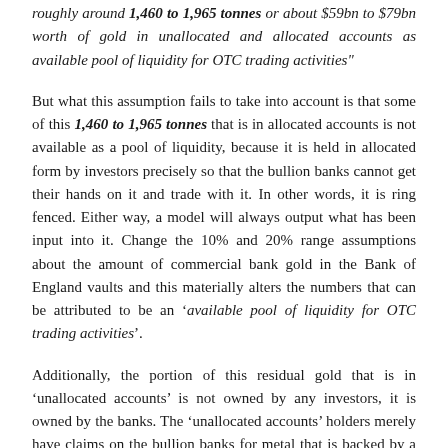roughly around 1,460 to 1,965 tonnes or about $59bn to $79bn worth of gold in unallocated and allocated accounts as available pool of liquidity for OTC trading activities"
But what this assumption fails to take into account is that some of this 1,460 to 1,965 tonnes that is in allocated accounts is not available as a pool of liquidity, because it is held in allocated form by investors precisely so that the bullion banks cannot get their hands on it and trade with it. In other words, it is ring fenced. Either way, a model will always output what has been input into it. Change the 10% and 20% range assumptions about the amount of commercial bank gold in the Bank of England vaults and this materially alters the numbers that can be attributed to be an ‘available pool of liquidity for OTC trading activities’.
Additionally, the portion of this residual gold that is in ‘unallocated accounts’ is not owned by any investors, it is owned by the banks. The ‘unallocated accounts’ holders merely have claims on the bullion banks for metal that is backed by a fractional-reserve trading system.
In her commentary about the silver held in the London vaults, Teves